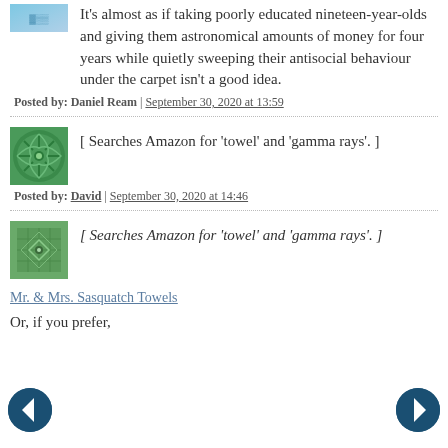It's almost as if taking poorly educated nineteen-year-olds and giving them astronomical amounts of money for four years while quietly sweeping their antisocial behaviour under the carpet isn't a good idea.
Posted by: Daniel Ream | September 30, 2020 at 13:59
[ Searches Amazon for ‘towel’ and ‘gamma rays’. ]
Posted by: David | September 30, 2020 at 14:46
[ Searches Amazon for ‘towel’ and ‘gamma rays’. ]
Mr. & Mrs. Sasquatch Towels
Or, if you prefer,